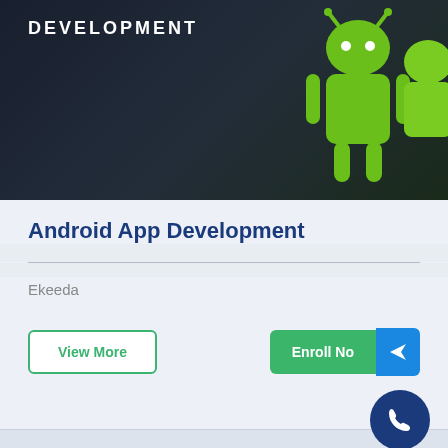[Figure (photo): Android development banner image showing green Android robot figures against dark background with 'DEVELOPMENT' text overlay]
Android App Development
Ekeeda
View More
Enroll Now